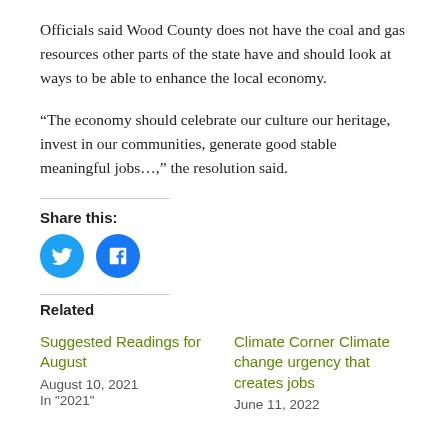Officials said Wood County does not have the coal and gas resources other parts of the state have and should look at ways to be able to enhance the local economy.
“The economy should celebrate our culture our heritage, invest in our communities, generate good stable meaningful jobs…,” the resolution said.
Share this:
[Figure (other): Twitter and Facebook social share icon buttons (blue circles with white bird and f logos)]
Related
Suggested Readings for August
August 10, 2021
In "2021"
Climate Corner Climate change urgency that creates jobs
June 11, 2022